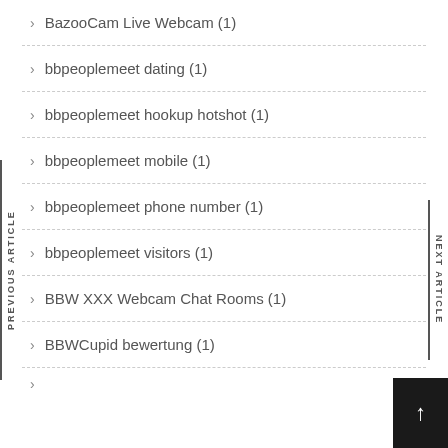BazooCam Live Webcam (1)
bbpeoplemeet dating (1)
bbpeoplemeet hookup hotshot (1)
bbpeoplemeet mobile (1)
bbpeoplemeet phone number (1)
bbpeoplemeet visitors (1)
BBW XXX Webcam Chat Rooms (1)
BBWCupid bewertung (1)